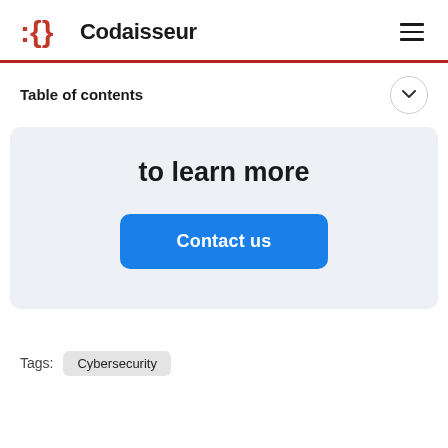Codaisseur
Table of contents
to learn more
Contact us
Tags: Cybersecurity